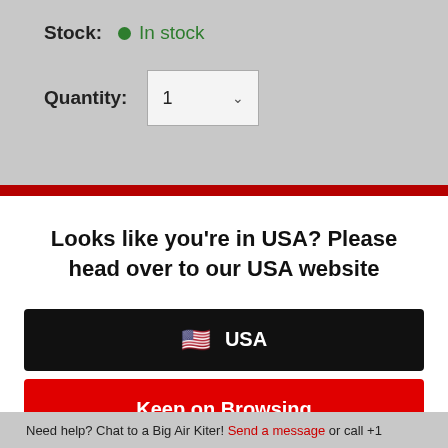Stock: In stock
Quantity: 1
Looks like you're in USA? Please head over to our USA website
USA
Keep on Browsing
Need help? Chat to a Big Air Kiter! Send a message or call +1